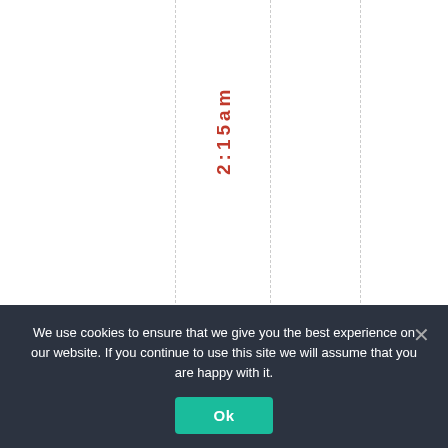2:15am
The first que
We use cookies to ensure that we give you the best experience on our website. If you continue to use this site we will assume that you are happy with it.